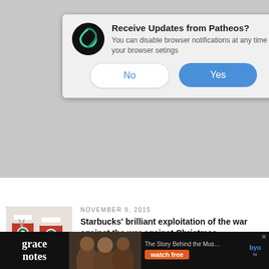[Figure (screenshot): Browser push notification dialog from Patheos. Shows Patheos logo (black circle with green swirl), title 'Receive Updates from Patheos?', body text 'You can disable browser notifications at any time in your browser setings', and two buttons: 'No' (white) and 'Yes' (blue). An X close button is in the top right.]
YALE
PREVIOUS POST
NOVEMBER 9, 2015
Starbucks' brilliant exploitation of the war against the war against Christmas
[Figure (photo): Two red Starbucks holiday cups with white Starbucks logo against a light background.]
[Figure (screenshot): Advertisement banner for 'grace notes' TV show. Shows 'grace notes' text on dark background, people singing photo, orange 'watch free' button, and BYU tv logo. Text reads 'The Story Behind the Mus...']